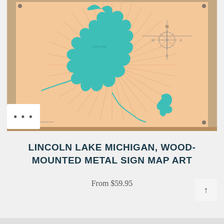[Figure (map): Lincoln Lake Michigan lake map art mounted on a wood frame. The print shows a teal/turquoise lake shape on a peach/cream background with sunburst rays radiating outward. A compass rose is shown in the upper right area. The print is mounted on a rustic wood board frame with visible corner screws.]
LINCOLN LAKE MICHIGAN, WOOD-MOUNTED METAL SIGN MAP ART
From $59.95